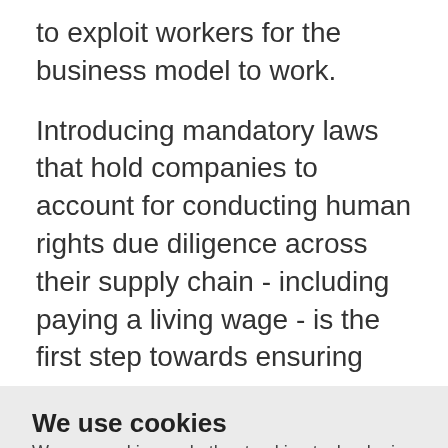to exploit workers for the business model to work.
Introducing mandatory laws that hold companies to account for conducting human rights due diligence across their supply chain - including paying a living wage - is the first step towards ensuring
We use cookies
We use cookies and other tracking technologies to improve your browsing experience on our website, to show you personalized content and targeted ads, to analyze our website traffic, and to understand where our visitors are coming from.